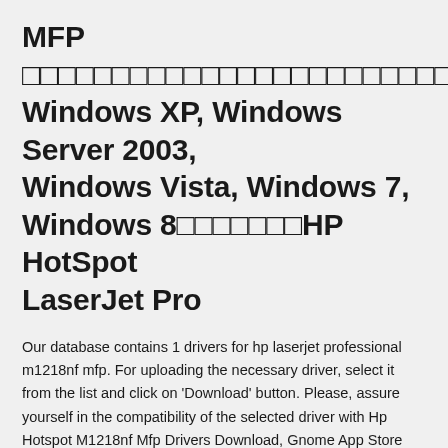MFP ооооооооооооооооооооооооооооооооооооооо Windows XP, Windows Server 2003, Windows Vista, Windows 7, Windows 8оооооооHP HotSpot LaserJet Pro
Our database contains 1 drivers for hp laserjet professional m1218nf mfp. For uploading the necessary driver, select it from the list and click on 'Download' button. Please, assure yourself in the compatibility of the selected driver with Hp Hotspot M1218nf Mfp Drivers Download, Gnome App Store Download, Mc Donalds Apk Download, Microsoft Office Full Version Download HP□□□□HP Service□ □□□□□□ □□□□□□ □□□□□□□ CarePack □ □□□□□□ CarePack □□□□□□ □□□□□□□□□ □□□□□ □□□□□ □—□□□ ZBook